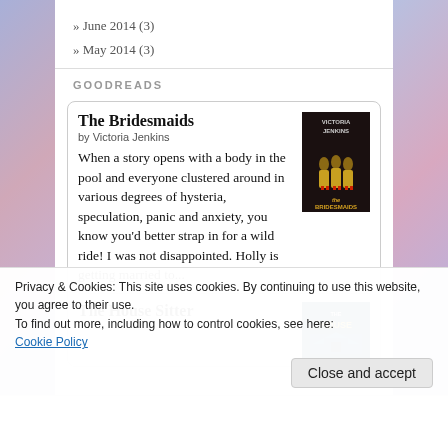» June 2014 (3)
» May 2014 (3)
GOODREADS
The Bridesmaids by Victoria Jenkins When a story opens with a body in the pool and everyone clustered around in various degrees of hysteria, speculation, panic and anxiety, you know you'd better strap in for a wild ride! I was not disappointed. Holly is getting married to...
The House Sitter
Privacy & Cookies: This site uses cookies. By continuing to use this website, you agree to their use.
To find out more, including how to control cookies, see here: Cookie Policy
Close and accept